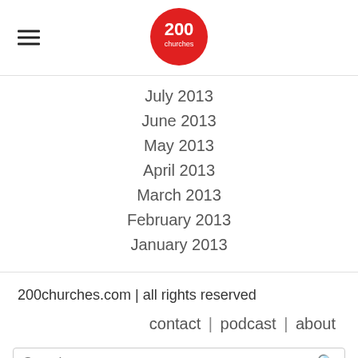[Figure (logo): 200churches logo: red circle with '200' in white text and 'churches' below in white text]
July 2013
June 2013
May 2013
April 2013
March 2013
February 2013
January 2013
200churches.com | all rights reserved
contact | podcast | about
Search